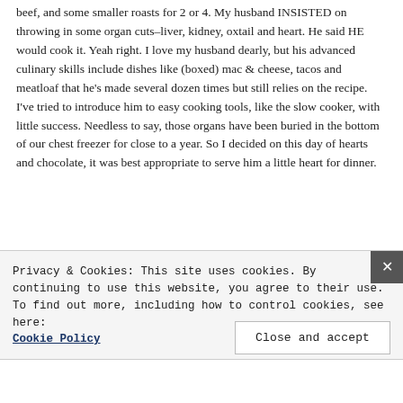beef, and some smaller roasts for 2 or 4. My husband INSISTED on throwing in some organ cuts–liver, kidney, oxtail and heart. He said HE would cook it. Yeah right. I love my husband dearly, but his advanced culinary skills include dishes like (boxed) mac & cheese, tacos and meatloaf that he's made several dozen times but still relies on the recipe. I've tried to introduce him to easy cooking tools, like the slow cooker, with little success. Needless to say, those organs have been buried in the bottom of our chest freezer for close to a year. So I decided on this day of hearts and chocolate, it was best appropriate to serve him a little heart for dinner.
Privacy & Cookies: This site uses cookies. By continuing to use this website, you agree to their use.
To find out more, including how to control cookies, see here: Cookie Policy